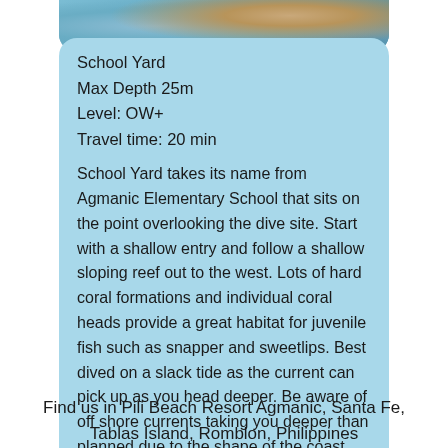[Figure (photo): Underwater or coastal photo showing rock formation and blue water, cropped at top of card]
School Yard
Max Depth 25m
Level: OW+
Travel time: 20 min
School Yard takes its name from Agmanic Elementary School that sits on the point overlooking the dive site. Start with a shallow entry and follow a shallow sloping reef out to the west. Lots of hard coral formations and individual coral heads provide a great habitat for juvenile fish such as snapper and sweetlips. Best dived on a slack tide as the current can pick up as you head deeper. Be aware of off shore currents taking you deeper than planned due to the shape of the coast.
Find us in Pili Beach Resort Agmanic, Santa Fe, Tablas Island, Romblon, Philippines